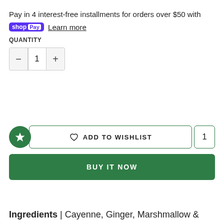Pay in 4 interest-free installments for orders over $50 with
shop Pay   Learn more
QUANTITY
[Figure (other): Quantity selector with minus button, value 1, and plus button]
[Figure (other): Add to Wishlist button with heart icon and quantity badge of 1, with green star icon on left]
[Figure (other): BUY IT NOW green button]
Ingredients | Cayenne, Ginger, Marshmallow &